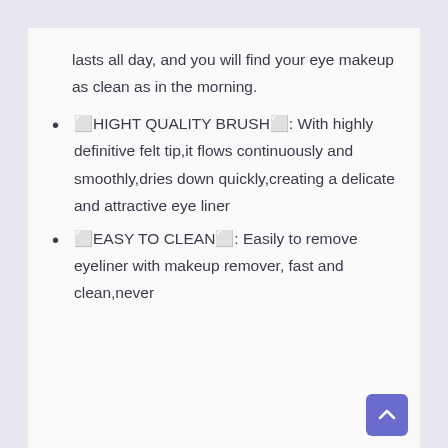lasts all day, and you will find your eye makeup as clean as in the morning.
🔲HIGHT QUALITY BRUSH🔲: With highly definitive felt tip,it flows continuously and smoothly,dries down quickly,creating a delicate and attractive eye liner
🔲EASY TO CLEAN🔲: Easily to remove eyeliner with makeup remover, fast and clean,never